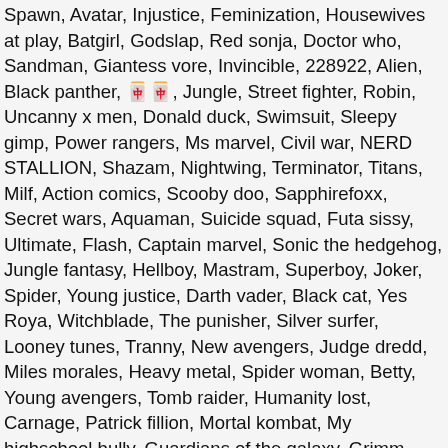Spawn, Avatar, Injustice, Feminization, Housewives at play, Batgirl, Godslap, Red sonja, Doctor who, Sandman, Giantess vore, Invincible, 228922, Alien, Black panther, 🀄🀄, Jungle, Street fighter, Robin, Uncanny x men, Donald duck, Swimsuit, Sleepy gimp, Power rangers, Ms marvel, Civil war, NERD STALLION, Shazam, Nightwing, Terminator, Titans, Milf, Action comics, Scooby doo, Sapphirefoxx, Secret wars, Aquaman, Suicide squad, Futa sissy, Ultimate, Flash, Captain marvel, Sonic the hedgehog, Jungle fantasy, Hellboy, Mastram, Superboy, Joker, Spider, Young justice, Darth vader, Black cat, Yes Roya, Witchblade, The punisher, Silver surfer, Looney tunes, Tranny, New avengers, Judge dredd, Miles morales, Heavy metal, Spider woman, Betty, Young avengers, Tomb raider, Humanity lost, Carnage, Patrick fillion, Mortal kombat, My highschool bully, Guardians of the galaxy, Grimm fairy tales, Avatar the last airbender, Weight gain, Hawkeye, Masters of the universe, Mickey mouse, Anal, Aliens, Gay, Red hood, Green arrow, The simpsons, Jla, Vampire, The walking dead, Spider verse, Thanos, House of m, Xxx connect app, Amazing spiderman, Ghostbusters, Watchmen, Dceased, Girls, Penthouse, Phantom, The kept man strikes back, Kamen america, Spectacular spider man, Power girl, Zombie, Horror, Betty and veronica, Adventure time, Jmark1966 – The Shrinking Boyfriend, Justice league of america, Dc super hero girls, Defenders, Spider gwen, Spider man 2099, Serge3dx, Buffy, Doom patrol, Robocop, Warhammer, Birds of prey, Love, X force, Scarlet witch,